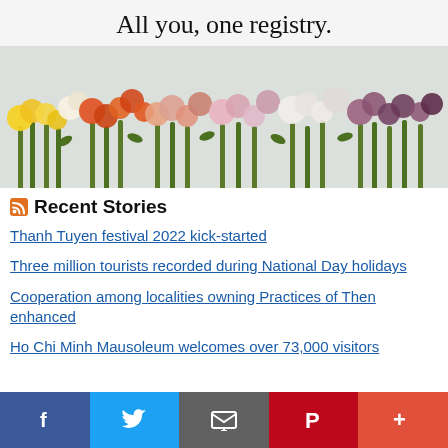[Figure (illustration): Advertisement banner showing colorful flowers arranged in a row from yellow to purple, with text 'All you, one registry.' at the top]
Recent Stories
Thanh Tuyen festival 2022 kick-started
Three million tourists recorded during National Day holidays
Cooperation among localities owning Practices of Then enhanced
Ho Chi Minh Mausoleum welcomes over 73,000 visitors
Facebook | Twitter | Email | Pinterest | More